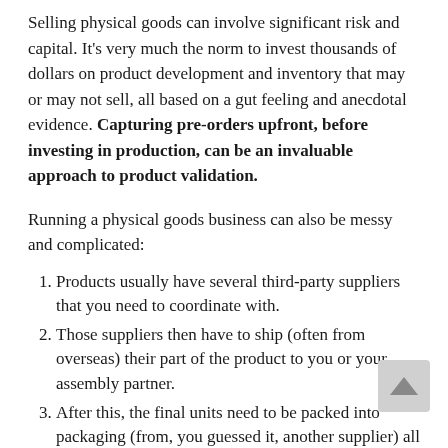Selling physical goods can involve significant risk and capital. It’s very much the norm to invest thousands of dollars on product development and inventory that may or may not sell, all based on a gut feeling and anecdotal evidence. Capturing pre-orders upfront, before investing in production, can be an invaluable approach to product validation.
Running a physical goods business can also be messy and complicated:
Products usually have several third-party suppliers that you need to coordinate with.
Those suppliers then have to ship (often from overseas) their part of the product to you or your assembly partner.
After this, the final units need to be packed into packaging (from, you guessed it, another supplier) all before the product is ready to send out.